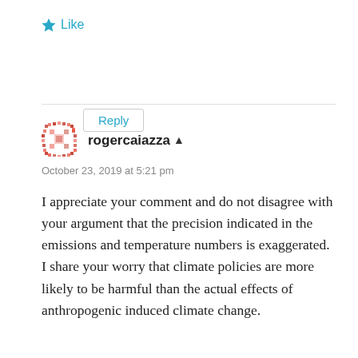[Figure (other): Star/Like button icon and text in teal/blue color]
Reply
rogercaiazza
October 23, 2019 at 5:21 pm
I appreciate your comment and do not disagree with your argument that the precision indicated in the emissions and temperature numbers is exaggerated. I share your worry that climate policies are more likely to be harmful than the actual effects of anthropogenic induced climate change.